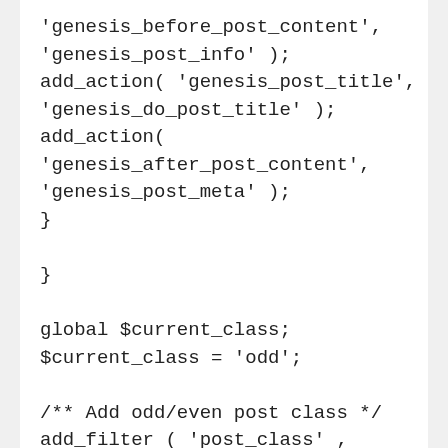'genesis_before_post_content',
'genesis_post_info' );
add_action( 'genesis_post_title',
'genesis_do_post_title' );
add_action(
'genesis_after_post_content',
'genesis_post_meta' );
}

}

global $current_class;
$current_class = 'odd';

/** Add odd/even post class */
add_filter ( 'post_class' ,
'pp_alt_post_class' );